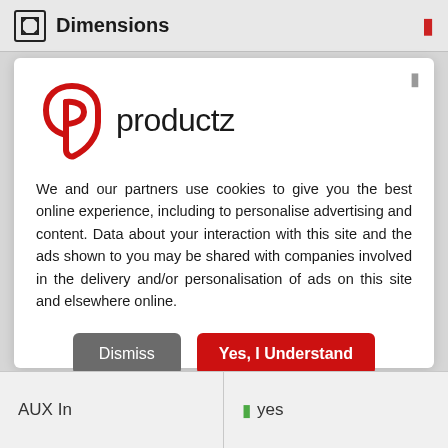Dimensions
[Figure (logo): Productz logo — red stylized P letter mark with 'productz' wordmark in dark text]
We and our partners use cookies to give you the best online experience, including to personalise advertising and content. Data about your interaction with this site and the ads shown to you may be shared with companies involved in the delivery and/or personalisation of ads on this site and elsewhere online.
Dismiss   Yes, I Understand
| AUX In | yes |
| --- | --- |
| AUX In | yes |